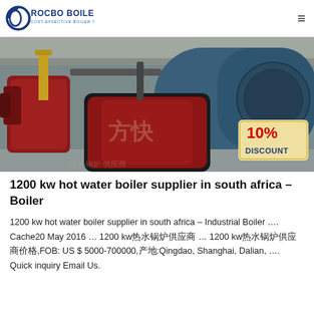ROCBO BOILER — COST-EFFECTIVE BOILER SUPPLIER
[Figure (photo): Industrial hot water boilers in a factory/warehouse setting. Red and dark blue cylindrical boilers with Chinese characters visible. A '10% DISCOUNT' badge is overlaid in the lower right corner.]
1200 kw hot water boiler supplier in south africa – Boiler
1200 kw hot water boiler supplier in south africa – Industrial Boiler …. Cache20 May 2016 … 1200 kw热水锅炉供应商 … 1200 kw热水锅炉供应商价格,FOB: US $ 5000-700000,产地:Qingdao, Shanghai, Dalian, …. Quick inquiry Email Us.